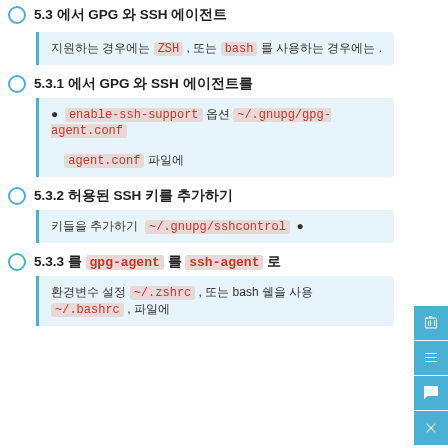5.3 에서 GPG 와 SSH 에이전트
지원하는 경우에는 ZSH , 또는 bash 를 사용하는 경우에는 .
5.3.1 에서 GPG 와 SSH 에이전트를
● enable-ssh-support 옵션 ~/.gnupg/gpg-agent.conf 파일에
5.3.2 허용된 SSH 키를 추가하기
키들을 추가하기 ~/.gnupg/sshcontrol ●
5.3.3 를 gpg-agent 를 ssh-agent 로
환경변수 설정 ~/.zshrc , 또는 bash 쉘을 사용 ~/.bashrc , 파일에